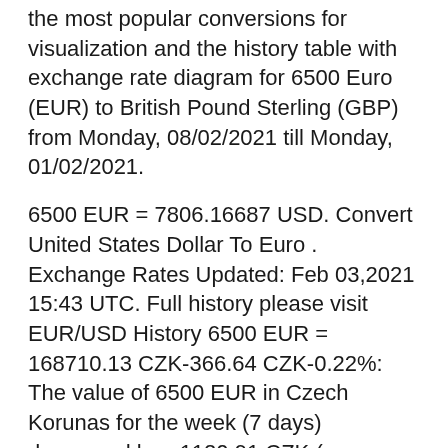the most popular conversions for visualization and the history table with exchange rate diagram for 6500 Euro (EUR) to British Pound Sterling (GBP) from Monday, 08/02/2021 till Monday, 01/02/2021.
6500 EUR = 7806.16687 USD. Convert United States Dollar To Euro . Exchange Rates Updated: Feb 03,2021 15:43 UTC. Full history please visit EUR/USD History 6500 EUR = 168710.13 CZK-366.64 CZK-0.22%: The value of 6500 EUR in Czech Korunas for the week (7 days) decreased by: -1120.91 CZK (one thousand one hundred twenty korunas ninety-one hellers). For the month (30 days) Date Day of the week 6500 EUR to CZK Changes Changes % February 8, 2021: Monday: 6500 EUR = 167492.48474 CZK. Convert Czech Koruna To Euro . Exchange Rates Updated: Feb